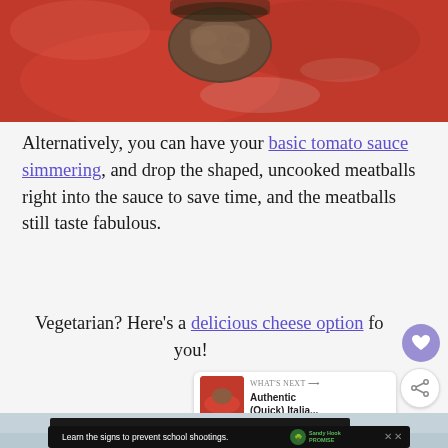[Figure (photo): Close-up photo of meatball in red tomato sauce from above]
Alternatively, you can have your basic tomato sauce simmering, and drop the shaped, uncooked meatballs right into the sauce to save time, and the meatballs still taste fabulous.
Vegetarian? Here’s a delicious cheese option for you!
[Figure (photo): Partial photo at bottom of page showing food item, with What’s Next widget showing Authentic (Quick) Italia... and Sandy Hook Promise advertisement overlay]